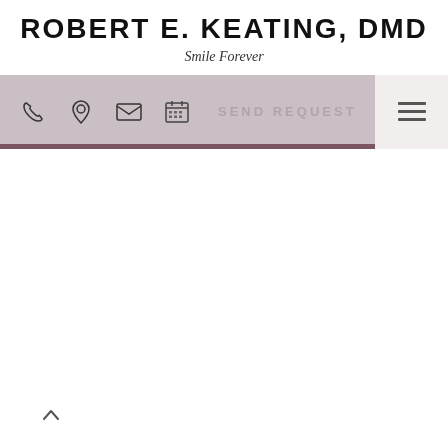ROBERT E. KEATING, DMD
Smile Forever
[Figure (screenshot): Navigation bar with icons for phone, location, email, calendar/appointment booking, a 'SEND REQUEST' label, and a hamburger menu icon on the right. The left portion has a mauve/grey background with a dark mauve bottom border accent.]
[Figure (other): Small upward-pointing chevron arrow at the bottom left of the page, for scrolling to top.]